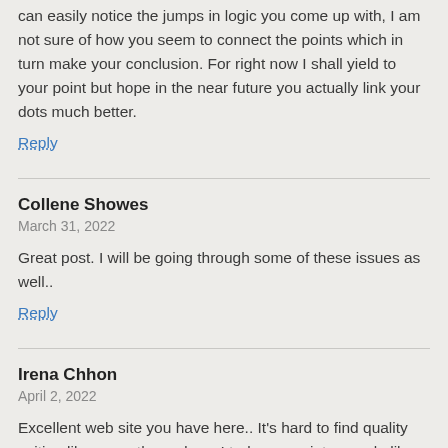can easily notice the jumps in logic you come up with, I am not sure of how you seem to connect the points which in turn make your conclusion. For right now I shall yield to your point but hope in the near future you actually link your dots much better.
Reply
Collene Showes
March 31, 2022
Great post. I will be going through some of these issues as well..
Reply
Irena Chhon
April 2, 2022
Excellent web site you have here.. It's hard to find quality writing like yours these days. I truly appreciate people like you! Take care!!
Reply